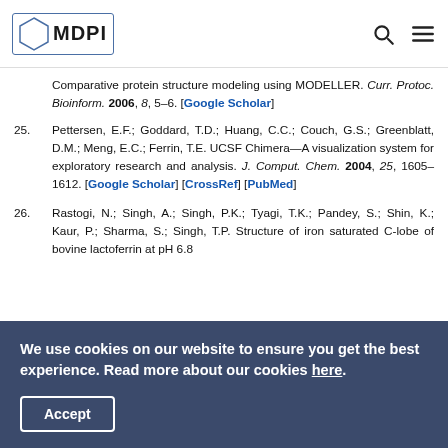MDPI
Comparative protein structure modeling using MODELLER. Curr. Protoc. Bioinform. 2006, 8, 5–6. [Google Scholar]
25. Pettersen, E.F.; Goddard, T.D.; Huang, C.C.; Couch, G.S.; Greenblatt, D.M.; Meng, E.C.; Ferrin, T.E. UCSF Chimera—A visualization system for exploratory research and analysis. J. Comput. Chem. 2004, 25, 1605–1612. [Google Scholar] [CrossRef] [PubMed]
26. Rastogi, N.; Singh, A.; Singh, P.K.; Tyagi, T.K.; Pandey, S.; Shin, K.; Kaur, P.; Sharma, S.; Singh, T.P. Structure of iron saturated C-lobe of bovine lactoferrin at pH 6.8
We use cookies on our website to ensure you get the best experience. Read more about our cookies here.